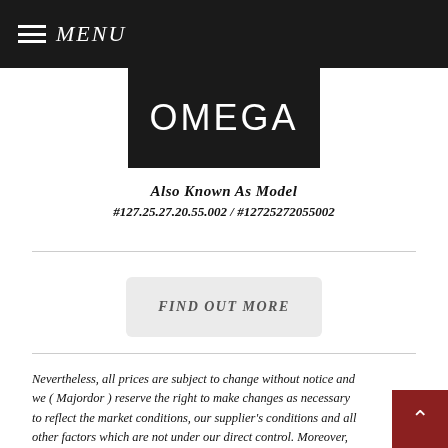MENU
[Figure (logo): OMEGA brand logo — white text on black background]
Also Known As Model
#127.25.27.20.55.002 / #12725272055002
FIND OUT MORE
Nevertheless, all prices are subject to change without notice and we ( Majordor ) reserve the right to make changes as necessary to reflect the market conditions, our supplier's conditions and all other factors which are not under our direct control. Moreover, the retail prices shown above